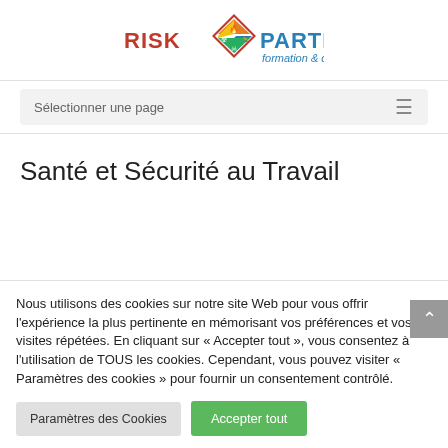[Figure (logo): Risk Partners formation & conseil logo — colorful diamond shape with hazard symbols and blue/red text 'RISK PARTNERS formation & conseil']
Sélectionner une page
Santé et Sécurité au Travail
Nous utilisons des cookies sur notre site Web pour vous offrir l'expérience la plus pertinente en mémorisant vos préférences et vos visites répétées. En cliquant sur « Accepter tout », vous consentez à l'utilisation de TOUS les cookies. Cependant, vous pouvez visiter « Paramètres des cookies » pour fournir un consentement contrôlé.
Paramètres des Cookies
Accepter tout